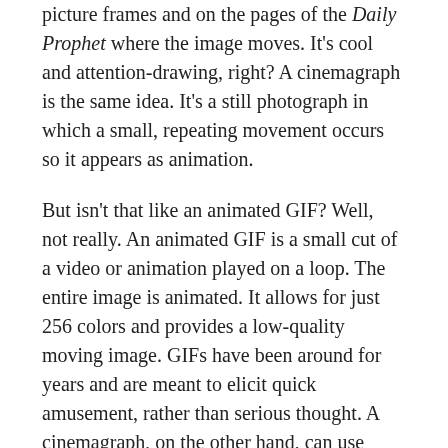picture frames and on the pages of the Daily Prophet where the image moves. It's cool and attention-drawing, right? A cinemagraph is the same idea. It's a still photograph in which a small, repeating movement occurs so it appears as animation.
But isn't that like an animated GIF? Well, not really. An animated GIF is a small cut of a video or animation played on a loop. The entire image is animated. It allows for just 256 colors and provides a low-quality moving image. GIFs have been around for years and are meant to elicit quick amusement, rather than serious thought. A cinemagraph, on the other hand, can use millions of colors and presents a high-quality product.